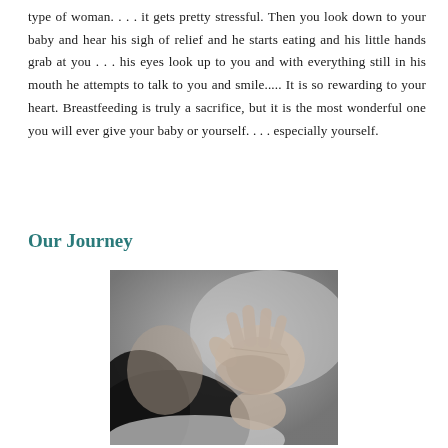type of woman. . . . it gets pretty stressful. Then you look down to your baby and hear his sigh of relief and he starts eating and his little hands grab at you . . . his eyes look up to you and with everything still in his mouth he attempts to talk to you and smile..... It is so rewarding to your heart. Breastfeeding is truly a sacrifice, but it is the most wonderful one you will ever give your baby or yourself. . . . especially yourself.
Our Journey
[Figure (photo): Black and white photograph of a baby's hand reaching upward near a mother's face with dark hair, close-up intimate moment.]